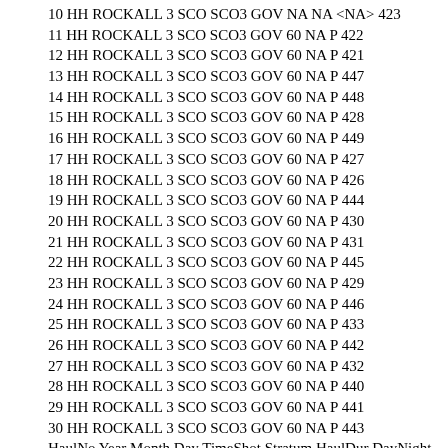10 HH ROCKALL 3 SCO SCO3 GOV NA NA <NA> 423
11 HH ROCKALL 3 SCO SCO3 GOV 60 NA P 422
12 HH ROCKALL 3 SCO SCO3 GOV 60 NA P 421
13 HH ROCKALL 3 SCO SCO3 GOV 60 NA P 447
14 HH ROCKALL 3 SCO SCO3 GOV 60 NA P 448
15 HH ROCKALL 3 SCO SCO3 GOV 60 NA P 428
16 HH ROCKALL 3 SCO SCO3 GOV 60 NA P 449
17 HH ROCKALL 3 SCO SCO3 GOV 60 NA P 427
18 HH ROCKALL 3 SCO SCO3 GOV 60 NA P 426
19 HH ROCKALL 3 SCO SCO3 GOV 60 NA P 444
20 HH ROCKALL 3 SCO SCO3 GOV 60 NA P 430
21 HH ROCKALL 3 SCO SCO3 GOV 60 NA P 431
22 HH ROCKALL 3 SCO SCO3 GOV 60 NA P 445
23 HH ROCKALL 3 SCO SCO3 GOV 60 NA P 429
24 HH ROCKALL 3 SCO SCO3 GOV 60 NA P 446
25 HH ROCKALL 3 SCO SCO3 GOV 60 NA P 433
26 HH ROCKALL 3 SCO SCO3 GOV 60 NA P 442
27 HH ROCKALL 3 SCO SCO3 GOV 60 NA P 432
28 HH ROCKALL 3 SCO SCO3 GOV 60 NA P 440
29 HH ROCKALL 3 SCO SCO3 GOV 60 NA P 441
30 HH ROCKALL 3 SCO SCO3 GOV 60 NA P 443
HaulNo Year Month Day TimeShot Stratum HaulDur DayNight ShootLat ShootLong
1 18 2002 9 4 822 NA 30 D 56.9500 -13.7667
2 17 2002 9 4 656 NA 30 D 57.0167 -13.7833